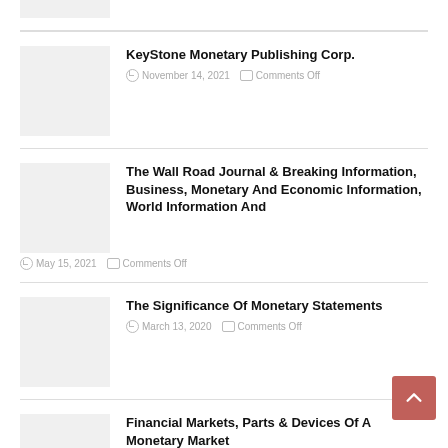[Figure (photo): Partial thumbnail image at top of page]
KeyStone Monetary Publishing Corp.
November 14, 2021   Comments Off
The Wall Road Journal & Breaking Information, Business, Monetary And Economic Information, World Information And
May 15, 2021   Comments Off
The Significance Of Monetary Statements
March 13, 2020   Comments Off
Financial Markets, Parts & Devices Of A Monetary Market
October 18, 2019   Comments Off